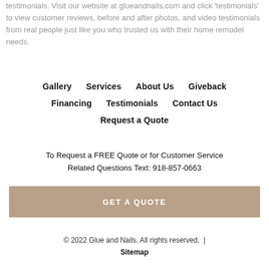testimonials. Visit our website at glueandnails.com and click 'testimonials' to view customer reviews, before and after photos, and video testimonials from real people just like you who trusted us with their home remodel needs.
Gallery    Services    About Us    Giveback
Financing    Testimonials    Contact Us
Request a Quote
To Request a FREE Quote or for Customer Service Related Questions Text: 918-857-0663
GET A QUOTE
© 2022 Glue and Nails. All rights reserved. | Sitemap